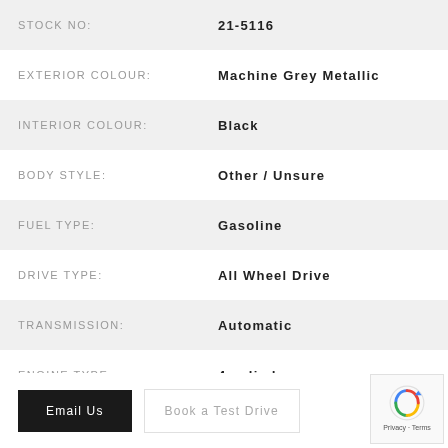| Field | Value |
| --- | --- |
| STOCK NO: | 21-5116 |
| EXTERIOR COLOUR: | Machine Grey Metallic |
| INTERIOR COLOUR: | Black |
| BODY STYLE: | Other / Unsure |
| FUEL TYPE: | Gasoline |
| DRIVE TYPE: | All Wheel Drive |
| TRANSMISSION: | Automatic |
| ENGINE TYPE: | 4-cylinder |
Email Us
Book a Test Drive